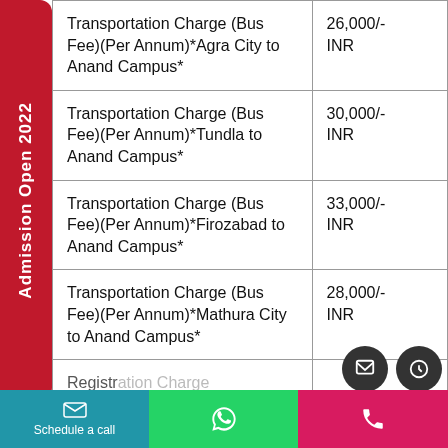| Fee Description | Amount |
| --- | --- |
| Transportation Charge (Bus Fee)(Per Annum)*Agra City to Anand Campus* | 26,000/- INR |
| Transportation Charge (Bus Fee)(Per Annum)*Tundla to Anand Campus* | 30,000/- INR |
| Transportation Charge (Bus Fee)(Per Annum)*Firozabad to Anand Campus* | 33,000/- INR |
| Transportation Charge (Bus Fee)(Per Annum)*Mathura City to Anand Campus* | 28,000/- INR |
| Registration Charge... | ... |
Admission Open 2022
Schedule a call | WhatsApp | Phone